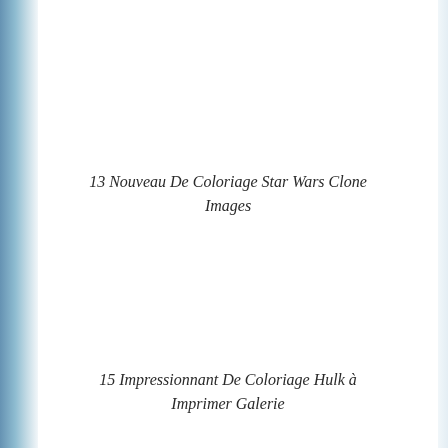13 Nouveau De Coloriage Star Wars Clone Images
15 Impressionnant De Coloriage Hulk à Imprimer Galerie